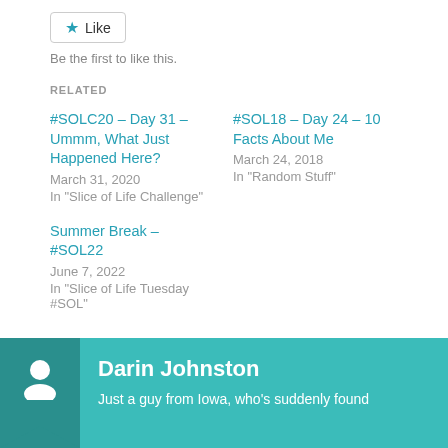Like
Be the first to like this.
RELATED
#SOLC20 – Day 31 – Ummm, What Just Happened Here?
March 31, 2020
In "Slice of Life Challenge"
#SOL18 – Day 24 – 10 Facts About Me
March 24, 2018
In "Random Stuff"
Summer Break – #SOL22
June 7, 2022
In "Slice of Life Tuesday #SOL"
Darin Johnston
Just a guy from Iowa, who's suddenly found